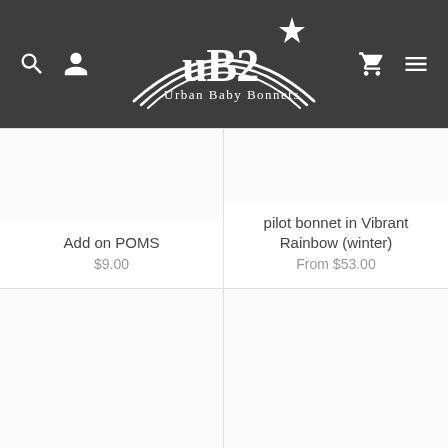[Figure (logo): Urban Baby Bonnets (UB2) logo with white rainbow arc and star on dark grey background, with navigation icons]
Add on POMS
$9.00
pilot bonnet in Vibrant Rainbow (winter)
From $53.00
[Figure (photo): Product image placeholder - bottom left cell]
[Figure (photo): Product image placeholder - bottom right cell]